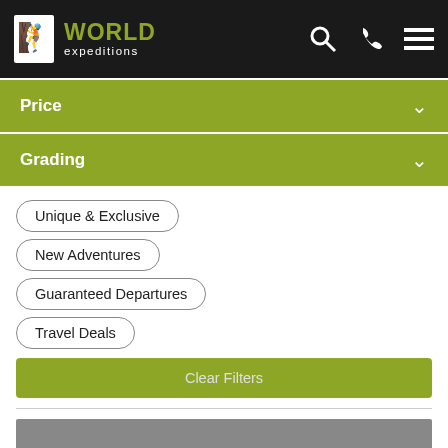World Expeditions
Price
Grading
Unique & Exclusive
New Adventures
Guaranteed Departures
Travel Deals
Clear Filters
[Figure (photo): Gray placeholder image area]
Please wait:Updating adventures ...